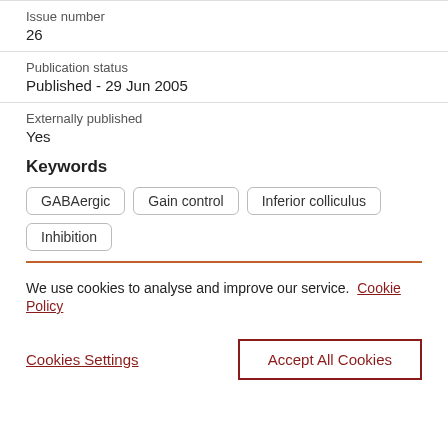Issue number
26
Publication status
Published - 29 Jun 2005
Externally published
Yes
Keywords
GABAergic
Gain control
Inferior colliculus
Inhibition
We use cookies to analyse and improve our service. Cookie Policy
Cookies Settings
Accept All Cookies